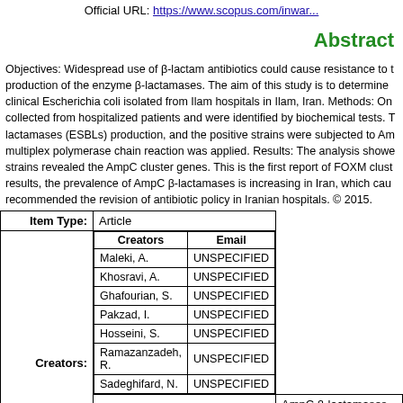Official URL: https://www.scopus.com/inwar...
Abstract
Objectives: Widespread use of β-lactam antibiotics could cause resistance to the production of the enzyme β-lactamases. The aim of this study is to determine clinical Escherichia coli isolated from Ilam hospitals in Ilam, Iran. Methods: On collected from hospitalized patients and were identified by biochemical tests. T lactamases (ESBLs) production, and the positive strains were subjected to Am multiplex polymerase chain reaction was applied. Results: The analysis showe strains revealed the AmpC cluster genes. This is the first report of FOXM clust results, the prevalence of AmpC β-lactamases is increasing in Iran, which cau recommended the revision of antibiotic policy in Iranian hospitals. © 2015.
| Item Type: | Article |
| --- | --- |
| Creators: | Creators | Email |
|  | Maleki, A. | UNSPECIFIED |
|  | Khosravi, A. | UNSPECIFIED |
|  | Ghafourian, S. | UNSPECIFIED |
|  | Pakzad, I. | UNSPECIFIED |
|  | Hosseini, S. | UNSPECIFIED |
|  | Ramazanzadeh, R. | UNSPECIFIED |
|  | Sadeghifard, N. | UNSPECIFIED |
Keywords: AmpC β-lactamases E. coli ESBLs beta lactamase AmpC strain bacterium isolation enzyme analysis enzyme synth...